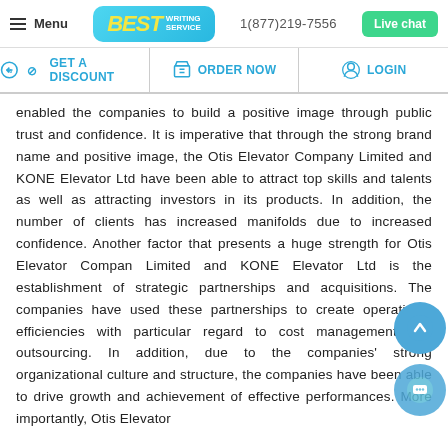[Figure (screenshot): Website header with menu button, Best Writing Service logo, phone number 1(877)219-7556, and Live chat button]
[Figure (screenshot): Navigation bar with GET A DISCOUNT, ORDER NOW, and LOGIN options]
enabled the companies to build a positive image through public trust and confidence. It is imperative that through the strong brand name and positive image, the Otis Elevator Company Limited and KONE Elevator Ltd have been able to attract top skills and talents as well as attracting investors in its products. In addition, the number of clients has increased manifolds due to increased confidence. Another factor that presents a huge strength for Otis Elevator Compan Limited and KONE Elevator Ltd is the establishment of strategic partnerships and acquisitions. The companies have used these partnerships to create operational efficiencies with particular regard to cost management and outsourcing. In addition, due to the companies’ strong organizational culture and structure, the companies have been able to drive growth and achievement of effective performances. More importantly, Otis Elevator